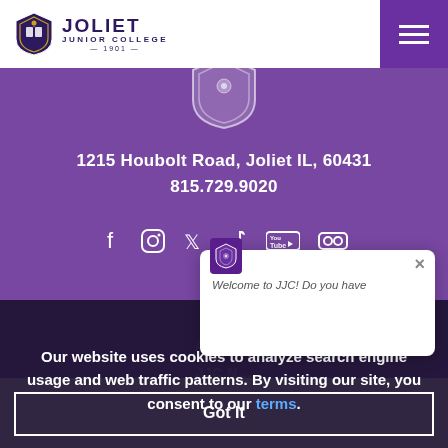[Figure (logo): Joliet Junior College logo with shield and text, 1901]
[Figure (screenshot): Purple hero section with JJC shield, address, phone, and social media icons]
1215 Houbolt Road, Joliet IL, 60431
815.729.9020
[Figure (infographic): Social media icons: Facebook, Instagram, Twitter/X, TikTok, YouTube, Flickr]
Co...
Acade...
JJC N...
Course Catalo...
Bookstore
Employment
[Figure (screenshot): JJC chat popup: Welcome to JJC! Do you have...]
Our website uses cookies to analyze search engine usage and web traffic patterns. By visiting our site, you consent to our terms.
Got It